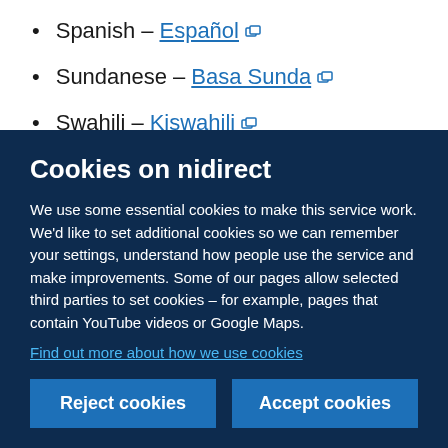Spanish — Español
Sundanese — Basa Sunda
Swahili — Kiswahili
Swedish — Svenska
Cookies on nidirect
We use some essential cookies to make this service work. We'd like to set additional cookies so we can remember your settings, understand how people use the service and make improvements. Some of our pages allow selected third parties to set cookies – for example, pages that contain YouTube videos or Google Maps.
Find out more about how we use cookies
Reject cookies   Accept cookies